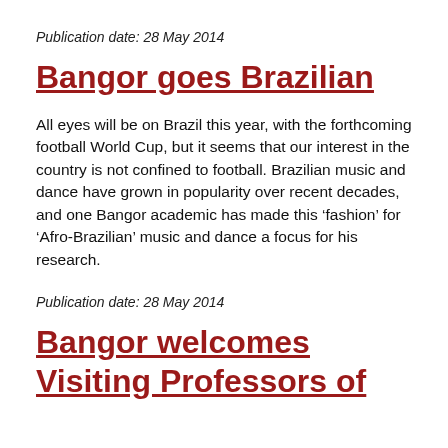Publication date: 28 May 2014
Bangor goes Brazilian
All eyes will be on Brazil this year, with the forthcoming football World Cup, but it seems that our interest in the country is not confined to football. Brazilian music and dance have grown in popularity over recent decades, and one Bangor academic has made this ‘fashion’ for ‘Afro-Brazilian’ music and dance a focus for his research.
Publication date: 28 May 2014
Bangor welcomes Visiting Professors of